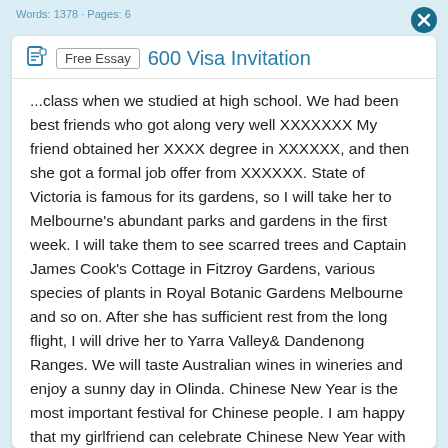Words: 1378 · Pages: 6
600 Visa Invitation
...class when we studied at high school. We had been best friends who got along very well XXXXXXX My friend obtained her XXXX degree in XXXXXX, and then she got a formal job offer from XXXXXX. State of Victoria is famous for its gardens, so I will take her to Melbourne's abundant parks and gardens in the first week. I will take them to see scarred trees and Captain James Cook's Cottage in Fitzroy Gardens, various species of plants in Royal Botanic Gardens Melbourne and so on. After she has sufficient rest from the long flight, I will drive her to Yarra Valley& Dandenong Ranges. We will taste Australian wines in wineries and enjoy a sunny day in Olinda. Chinese New Year is the most important festival for Chinese people. I am happy that my girlfriend can celebrate Chinese New Year with me this year. We will go to